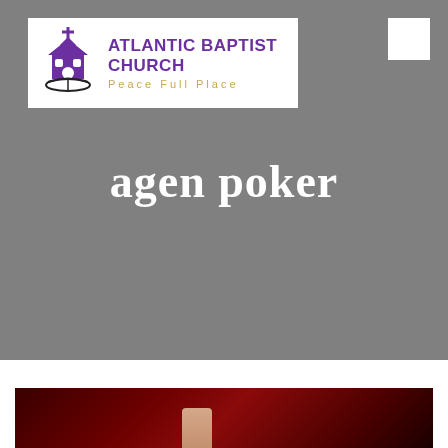[Figure (logo): Atlantic Baptist Church logo with purple church building icon and text 'ATLANTIC BAPTIST CHURCH' in purple bold, subtitle 'Peace Full Place' in gold spaced letters, on white background]
agen poker
[Figure (photo): Dark red/maroon background photo showing a hand at the bottom, partially visible]